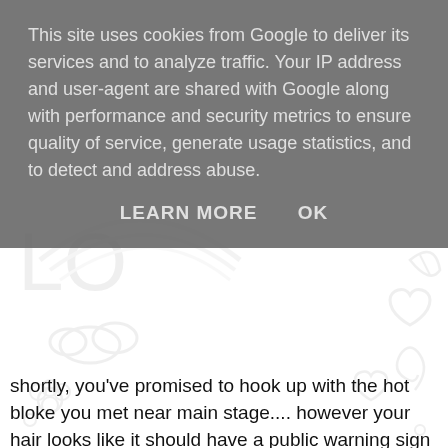This site uses cookies from Google to deliver its services and to analyze traffic. Your IP address and user-agent are shared with Google along with performance and security metrics to ensure quality of service, generate usage statistics, and to detect and address abuse.
LEARN MORE    OK
shortly, you've promised to hook up with the hot bloke you met near main stage.... however your hair looks like it should have a public warning sign on it and the queues for showers are ridiculous....panic sets in..you need a quick fix..thankfully your mate steps in and whisks out a Batiste Mini dry shampoo!!
[Figure (photo): Photo of a small white cylindrical Batiste Mini dry shampoo bottle on a wooden surface with a grey background]